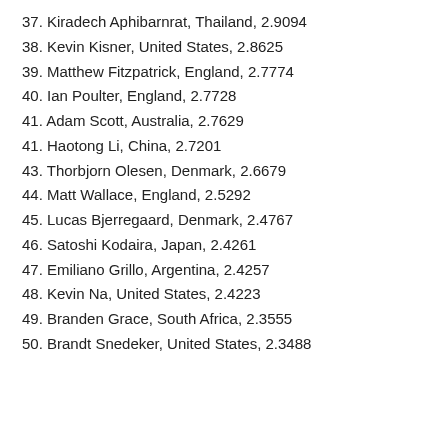37. Kiradech Aphibarnrat, Thailand, 2.9094
38. Kevin Kisner, United States, 2.8625
39. Matthew Fitzpatrick, England, 2.7774
40. Ian Poulter, England, 2.7728
41. Adam Scott, Australia, 2.7629
41. Haotong Li, China, 2.7201
43. Thorbjorn Olesen, Denmark, 2.6679
44. Matt Wallace, England, 2.5292
45. Lucas Bjerregaard, Denmark, 2.4767
46. Satoshi Kodaira, Japan, 2.4261
47. Emiliano Grillo, Argentina, 2.4257
48. Kevin Na, United States, 2.4223
49. Branden Grace, South Africa, 2.3555
50. Brandt Snedeker, United States, 2.3488